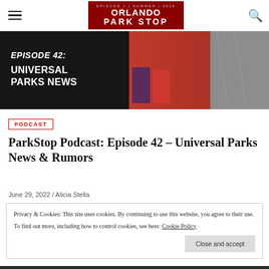Orlando Park Stop
[Figure (photo): Hero banner image for Episode 42: Universal Parks News, showing dark background with text overlay and colorful park imagery]
PODCAST
ParkStop Podcast: Episode 42 – Universal Parks News & Rumors
June 29, 2022 / Alicia Stella
Privacy & Cookies: This site uses cookies. By continuing to use this website, you agree to their use. To find out more, including how to control cookies, see here: Cookie Policy
Close and accept